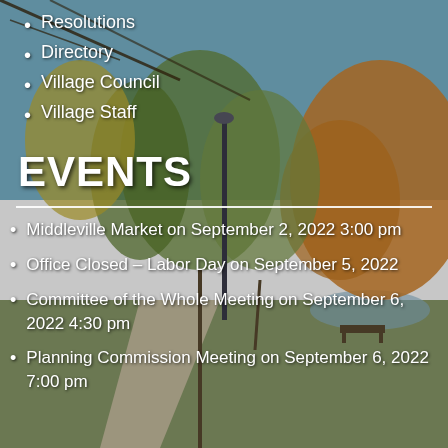Resolutions
Directory
Village Council
Village Staff
EVENTS
Middleville Market on September 2, 2022 3:00 pm
Office Closed – Labor Day on September 5, 2022
Committee of the Whole Meeting on September 6, 2022 4:30 pm
Planning Commission Meeting on September 6, 2022 7:00 pm